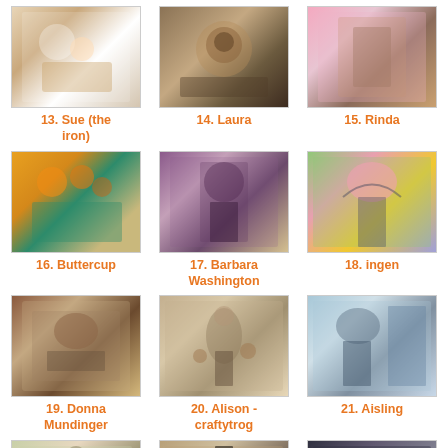[Figure (photo): Craft artwork thumbnail for entry 13, Sue (the iron)]
13. Sue (the iron)
[Figure (photo): Craft artwork thumbnail for entry 14, Laura]
14. Laura
[Figure (photo): Craft artwork thumbnail for entry 15, Rinda]
15. Rinda
[Figure (photo): Craft artwork thumbnail for entry 16, Buttercup]
16. Buttercup
[Figure (photo): Craft artwork thumbnail for entry 17, Barbara Washington]
17. Barbara Washington
[Figure (photo): Craft artwork thumbnail for entry 18, ingen]
18. ingen
[Figure (photo): Craft artwork thumbnail for entry 19, Donna Mundinger]
19. Donna Mundinger
[Figure (photo): Craft artwork thumbnail for entry 20, Alison - craftytrog]
20. Alison - craftytrog
[Figure (photo): Craft artwork thumbnail for entry 21, Aisling]
21. Aisling
[Figure (photo): Craft artwork thumbnail for entry 22, Val]
22. Val
[Figure (photo): Craft artwork thumbnail for entry 23, Lollyrot]
23. Lollyrot
[Figure (photo): Craft artwork thumbnail for entry 24, Lollyrot]
24. Lollyrot